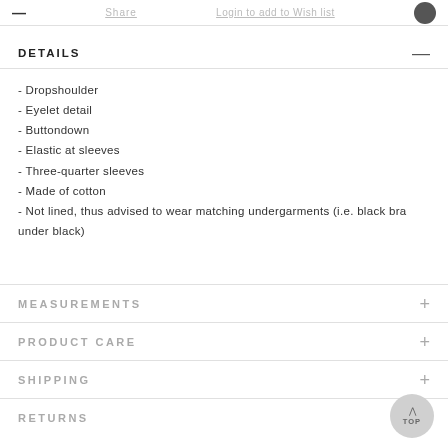— Share Login to add to Wish list
DETAILS
- Dropshoulder
- Eyelet detail
- Buttondown
- Elastic at sleeves
- Three-quarter sleeves
- Made of cotton
- Not lined, thus advised to wear matching undergarments (i.e. black bra under black)
MEASUREMENTS
PRODUCT CARE
SHIPPING
RETURNS